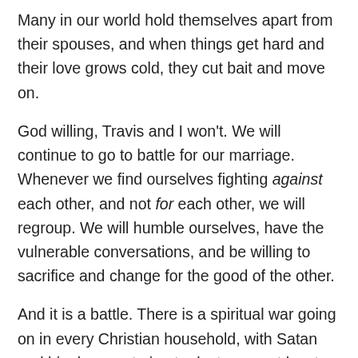Many in our world hold themselves apart from their spouses, and when things get hard and their love grows cold, they cut bait and move on.
God willing, Travis and I won't. We will continue to go to battle for our marriage. Whenever we find ourselves fighting against each other, and not for each other, we will regroup. We will humble ourselves, have the vulnerable conversations, and be willing to sacrifice and change for the good of the other.
And it is a battle. There is a spiritual war going on in every Christian household, with Satan and his demons trying to destroy, or at least disarm, the powerful picture of Christ and His church that is marriage. Satan wants the husband to pursue his own interests at the expense of his wife and